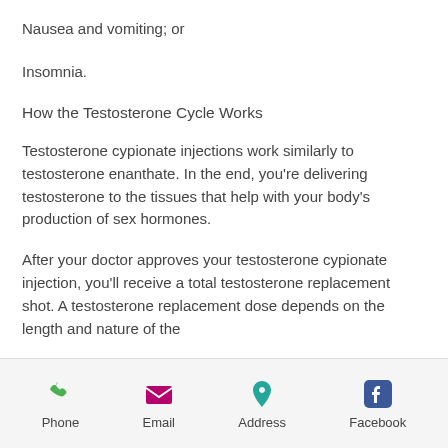Nausea and vomiting; or
Insomnia.
How the Testosterone Cycle Works
Testosterone cypionate injections work similarly to testosterone enanthate. In the end, you're delivering testosterone to the tissues that help with your body's production of sex hormones.
After your doctor approves your testosterone cypionate injection, you'll receive a total testosterone replacement shot. A testosterone replacement dose depends on the length and nature of the
Phone | Email | Address | Facebook